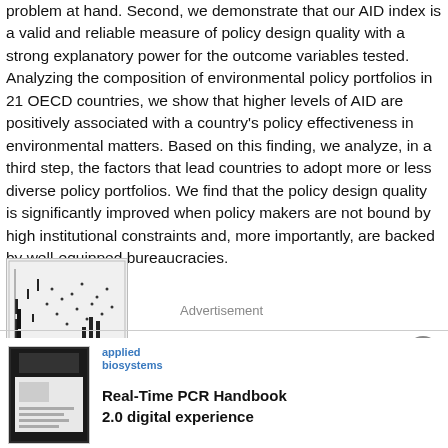problem at hand. Second, we demonstrate that our AID index is a valid and reliable measure of policy design quality with a strong explanatory power for the outcome variables tested. Analyzing the composition of environmental policy portfolios in 21 OECD countries, we show that higher levels of AID are positively associated with a country's policy effectiveness in environmental matters. Based on this finding, we analyze, in a third step, the factors that lead countries to adopt more or less diverse policy portfolios. We find that the policy design quality is significantly improved when policy makers are not bound by high institutional constraints and, more importantly, are backed by well-equipped bureaucracies.
[Figure (other): Thumbnail of a document page showing a table or chart with scattered data points and bar-like elements]
Advertisement
[Figure (photo): Cover thumbnail of Real-Time PCR Handbook 2.0 digital experience by Applied Biosystems]
Real-Time PCR Handbook 2.0 digital experience